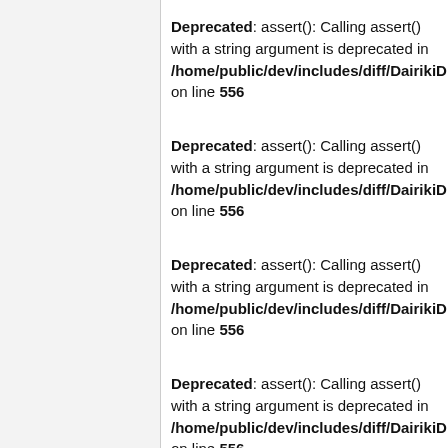Deprecated: assert(): Calling assert() with a string argument is deprecated in /home/public/dev/includes/diff/DairikiDiff.php on line 556
Deprecated: assert(): Calling assert() with a string argument is deprecated in /home/public/dev/includes/diff/DairikiDiff.php on line 556
Deprecated: assert(): Calling assert() with a string argument is deprecated in /home/public/dev/includes/diff/DairikiDiff.php on line 556
Deprecated: assert(): Calling assert() with a string argument is deprecated in /home/public/dev/includes/diff/DairikiDiff.php on line 556
Deprecated: assert(): Calling assert() with a string argument is deprecated in /home/public/dev/includes/diff/DairikiDiff.php on line 556